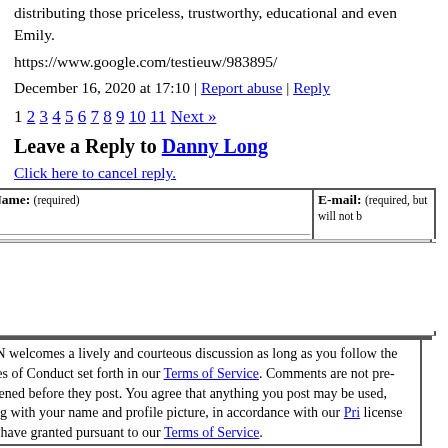distributing those priceless, trustworthy, educational and even Emily.
https://www.google.com/testieuw/983895/
December 16, 2020 at 17:10 | Report abuse | Reply
1 2 3 4 5 6 7 8 9 10 11 Next »
Leave a Reply to Danny Long
Click here to cancel reply.
Name: (required)  E-mail: (required, but will not be published)
CNN welcomes a lively and courteous discussion as long as you follow the Rules of Conduct set forth in our Terms of Service. Comments are not pre-screened before they post. You agree that anything you post may be used, along with your name and profile picture, in accordance with our Pri... license you have granted pursuant to our Terms of Service.